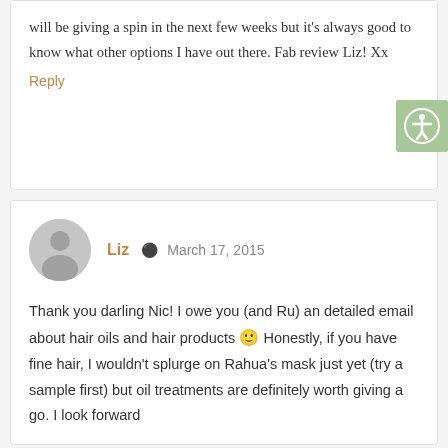will be giving a spin in the next few weeks but it's always good to know what other options I have out there. Fab review Liz! Xx
Reply
Liz  March 17, 2015
Thank you darling Nic! I owe you (and Ru) an detailed email about hair oils and hair products 🙂 Honestly, if you have fine hair, I wouldn't splurge on Rahua's mask just yet (try a sample first) but oil treatments are definitely worth giving a go. I look forward